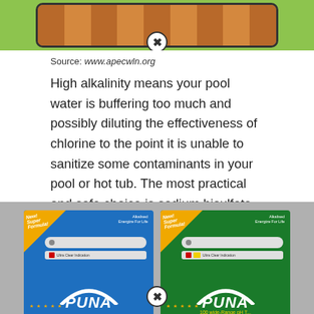[Figure (photo): Pool or table surface with wood-stripe pattern on green background, with an X circle button at bottom center]
Source: www.apecwln.org
High alkalinity means your pool water is buffering too much and possibly diluting the effectiveness of chlorine to the point it is unable to sanitize some contaminants in your pool or hot tub. The most practical and safe choice is sodium bisulfate, which is sold as alkalinity decreaser.
[Figure (photo): Two PUNA brand product boxes (one blue, one green) showing pH test strips, displayed side by side on a gray background. The green box shows '100 wide-Range pH T...' text.]